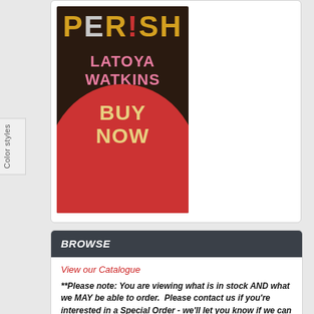[Figure (illustration): Book cover for 'PERISH' by LaToya Watkins, dark brown background with colorful title text, pink author name, red circle with 'BUY NOW' text in yellow]
BROWSE
View our Catalogue
**Please note: You are viewing what is in stock AND what we MAY be able to order.  Please contact us if you're interested in a Special Order - we'll let you know if we can get ahold of it!**